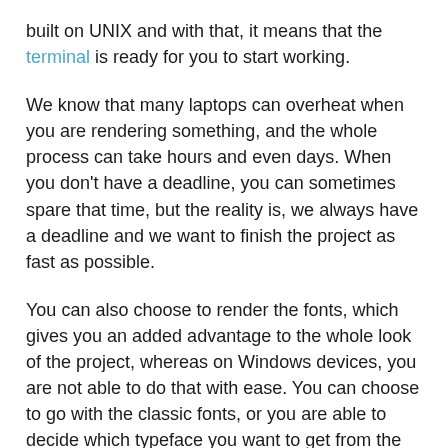built on UNIX and with that, it means that the terminal is ready for you to start working.
We know that many laptops can overheat when you are rendering something, and the whole process can take hours and even days. When you don't have a deadline, you can sometimes spare that time, but the reality is, we always have a deadline and we want to finish the project as fast as possible.
You can also choose to render the fonts, which gives you an added advantage to the whole look of the project, whereas on Windows devices, you are not able to do that with ease. You can choose to go with the classic fonts, or you are able to decide which typeface you want to get from the database. Everyone who knows marketing knows that the visual appearance of the letters can make the difference between the products being disregarded, and selling out on the first day.